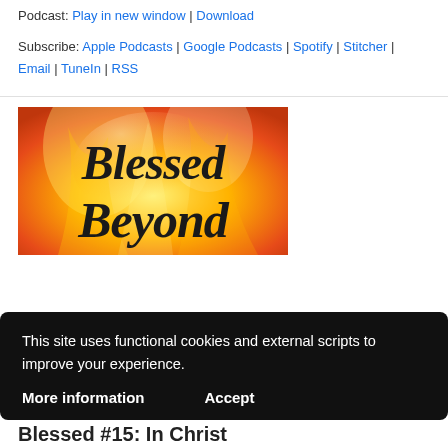Podcast: Play in new window | Download
Subscribe: Apple Podcasts | Google Podcasts | Spotify | Stitcher | Email | TuneIn | RSS
[Figure (illustration): Blessed Beyond podcast cover art — fiery orange-yellow flame background with black cursive text reading 'Blessed Beyond']
This site uses functional cookies and external scripts to improve your experience.
More information    Accept
Blessed #15: In Christ